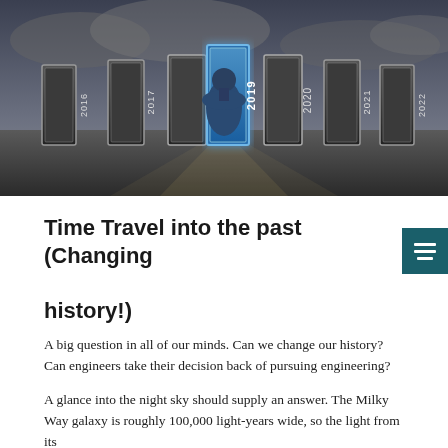[Figure (photo): A person seen from behind facing a row of doors labeled with years 2016, 2017, 2018, 2019 (highlighted in blue), 2020, 2021, 2022 against a dramatic cloudy sky. The door labeled 2019 is glowing blue.]
Time Travel into the past (Changing history!)
A big question in all of our minds. Can we change our history? Can engineers take their decision back of pursuing engineering?
A glance into the night sky should supply an answer. The Milky Way galaxy is roughly 100,000 light-years wide, so the light from its